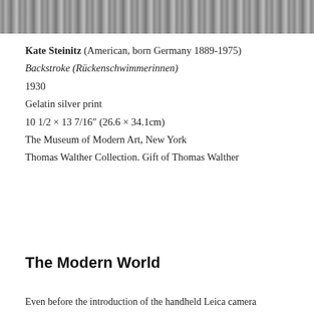[Figure (photo): Partial photograph at top of page showing swimmers doing backstroke, black and white, cropped]
Kate Steinitz (American, born Germany 1889-1975)
Backstroke (Rückenschwimmerinnen)
1930
Gelatin silver print
10 1/2 × 13 7/16″ (26.6 × 34.1cm)
The Museum of Modern Art, New York
Thomas Walther Collection. Gift of Thomas Walther
The Modern World
Even before the introduction of the handheld Leica camera